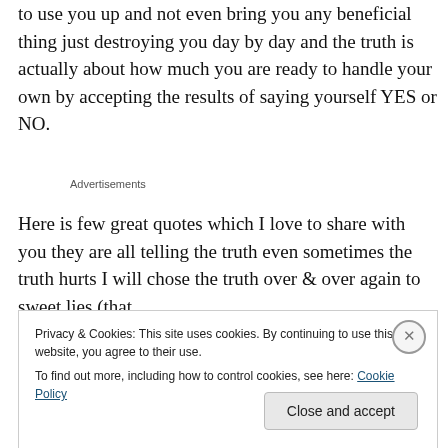to use you up and not even bring you any beneficial thing just destroying you day by day and the truth is actually about how much you are ready to handle your own by accepting the results of saying yourself YES or NO.
Advertisements
Here is few great quotes which I love to share with you they are all telling the truth even sometimes the truth hurts I will chose the truth over & over again to sweet lies (that
Privacy & Cookies: This site uses cookies. By continuing to use this website, you agree to their use.
To find out more, including how to control cookies, see here: Cookie Policy
Close and accept